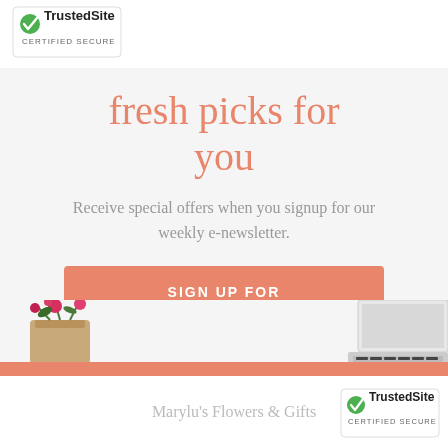[Figure (logo): TrustedSite Certified Secure badge, top left]
fresh picks for you
Receive special offers when you signup for our weekly e-newsletter.
SIGN UP FOR WEEKLY NEWSLETTERS
[Figure (photo): Flowers bouquet on left and laptop on right, decorative photo strip]
Marylu's Flowers & Gifts
[Figure (logo): TrustedSite Certified Secure badge, bottom right]